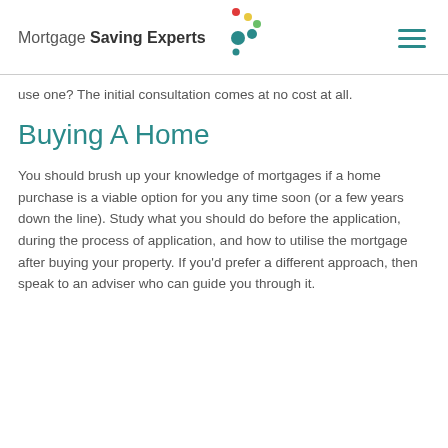Mortgage Saving Experts
use one? The initial consultation comes at no cost at all.
Buying A Home
You should brush up your knowledge of mortgages if a home purchase is a viable option for you any time soon (or a few years down the line). Study what you should do before the application, during the process of application, and how to utilise the mortgage after buying your property. If you'd prefer a different approach, then speak to an adviser who can guide you through it.